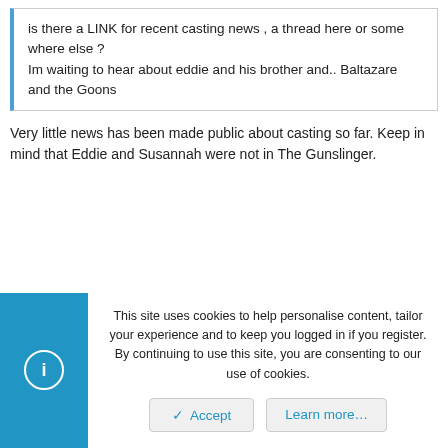is there a LINK for recent casting news , a thread here or some where else ?
Im waiting to hear about eddie and his brother and.. Baltazare and the Goons
Very little news has been made public about casting so far. Keep in mind that Eddie and Susannah were not in The Gunslinger.
This site uses cookies to help personalise content, tailor your experience and to keep you logged in if you register.
By continuing to use this site, you are consenting to our use of cookies.